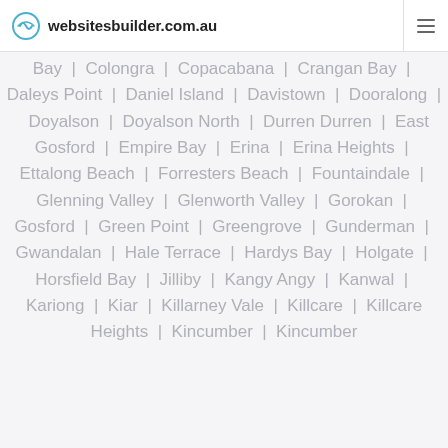websitesbuilder.com.au
Bay | Colongra | Copacabana | Crangan Bay | Daleys Point | Daniel Island | Davistown | Dooralong | Doyalson | Doyalson North | Durren Durren | East Gosford | Empire Bay | Erina | Erina Heights | Ettalong Beach | Forresters Beach | Fountaindale | Glenning Valley | Glenworth Valley | Gorokan | Gosford | Green Point | Greengrove | Gunderman | Gwandalan | Hale Terrace | Hardys Bay | Holgate | Horsfield Bay | Jilliby | Kangy Angy | Kanwal | Kariong | Kiar | Killarney Vale | Killcare | Killcare Heights | Kincumber | Kincumber